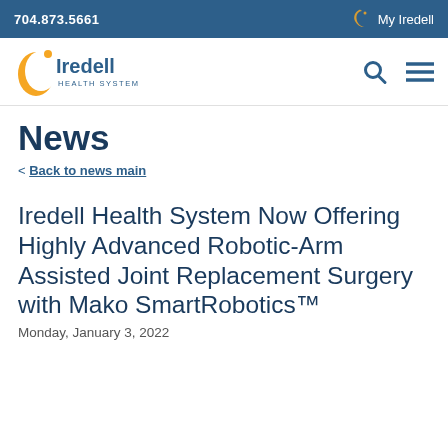704.873.5661   My Iredell
[Figure (logo): Iredell Health System logo with orange crescent and blue text]
News
< Back to news main
Iredell Health System Now Offering Highly Advanced Robotic-Arm Assisted Joint Replacement Surgery with Mako SmartRobotics™
Monday, January 3, 2022